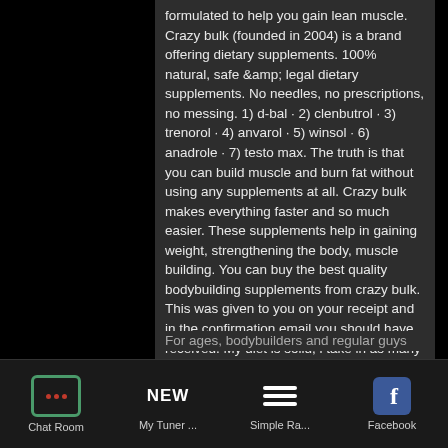formulated to help you gain lean muscle. Crazy bulk (founded in 2004) is a brand offering dietary supplements. 100% natural, safe &amp; legal dietary supplements. No needles, no prescriptions, no messing. 1) d-bal · 2) clenbutrol · 3) trenorol · 4) anvarol · 5) winsol · 6) anadrole · 7) testo max. The truth is that you can build muscle and burn fat without using any supplements at all. Crazy bulk makes everything faster and so much easier. These supplements help in gaining weight, strengthening the body, muscle building. You can buy the best quality bodybuilding supplements from crazy bulk. This was given to you on your receipt and in the confirmation email you should have received. My diet is solid, i take in as many calories as my budget will
For ages, bodybuilders and regular guys
Chat Room | My Tuner ... | Simple Ra... | Facebook